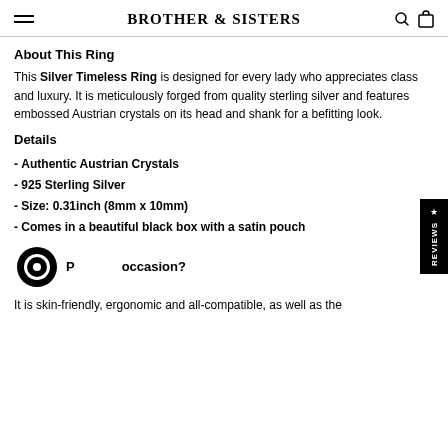BROTHER & SISTERS
About This Ring
This Silver Timeless Ring is designed for every lady who appreciates class and luxury. It is meticulously forged from quality sterling silver and features embossed Austrian crystals on its head and shank for a befitting look.
Details
- Authentic Austrian Crystals
- 925 Sterling Silver
- Size: 0.31inch (8mm x 10mm)
- Comes in a beautiful black box with a satin pouch
Perfect occasion?
It is skin-friendly, ergonomic and all-compatible, as well as the